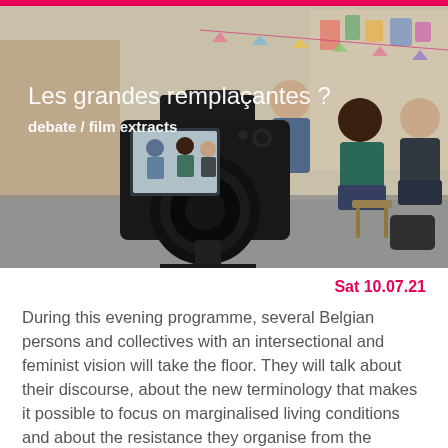[Figure (photo): A photograph showing a film/video recording session. A camera on a tripod is in the foreground with its screen showing three people being filmed. In the background, several people are seated in a colorful studio or workshop space. Text overlay reads 'Les grandes remplaçantes ?' and 'debate / film extracts'.]
Sat 10.07.21
During this evening programme, several Belgian persons and collectives with an intersectional and feminist vision will take the floor. They will talk about their discourse, about the new terminology that makes it possible to focus on marginalised living conditions and about the resistance they organise from the feminist movement against f...